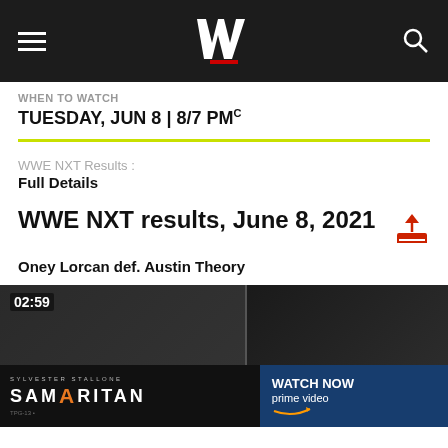WWE navigation bar with logo
WHEN TO WATCH
TUESDAY, JUN 8 | 8/7 PMC
WWE NXT Results : Full Details
WWE NXT results, June 8, 2021
Oney Lorcan def. Austin Theory
[Figure (screenshot): Video thumbnail showing wrestlers, duration 02:59]
[Figure (infographic): Advertisement banner for Samaritan (Sylvester Stallone) on Prime Video with Watch Now call to action]